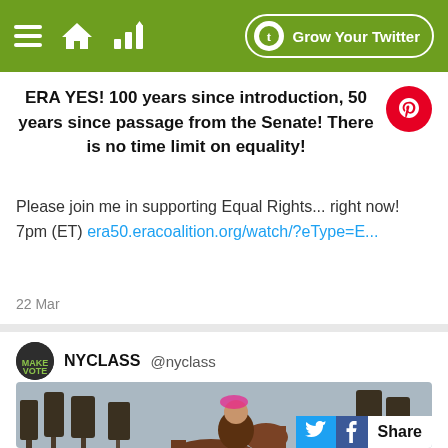Grow Your Twitter
ERA YES! 100 years since introduction, 50 years since passage from the Senate! There is no time limit on equality!
Please join me in supporting Equal Rights... right now! 7pm (ET) era50.eracoalition.org/watch/?eType=E...
22 Mar
NYCLASS @nyclass
[Figure (screenshot): Video thumbnail showing a woman and a horse in a park with bare trees, with a play button overlay and Share bar with Twitter and Facebook icons]